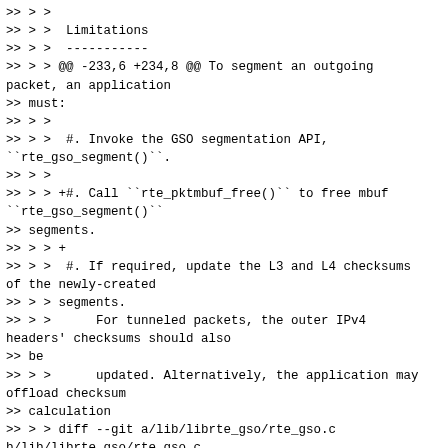>> > >
>> > >  Limitations
>> > >  -----------
>> > > @@ -233,6 +234,8 @@ To segment an outgoing packet, an application
>> must:
>> > >
>> > >  #. Invoke the GSO segmentation API,
``rte_gso_segment()``.
>> > >
>> > > +#. Call ``rte_pktmbuf_free()`` to free mbuf
``rte_gso_segment()``
>> segments.
>> > > +
>> > >  #. If required, update the L3 and L4 checksums of the newly-created
>> > > segments.
>> > >      For tunneled packets, the outer IPv4 headers' checksums should also
>> be
>> > >      updated. Alternatively, the application may offload checksum
>> calculation
>> > > diff --git a/lib/librte_gso/rte_gso.c b/lib/librte_gso/rte_gso.c
>> > > index 751b5b6..0d6cae5 100644
>> > > --- a/lib/librte_gso/rte_gso.c
>> > > +++ b/lib/librte_gso/rte_gso.c
>> > > @@ -30,7 +30,6 @@
>> > >  uint16_t nb_pkts_out)